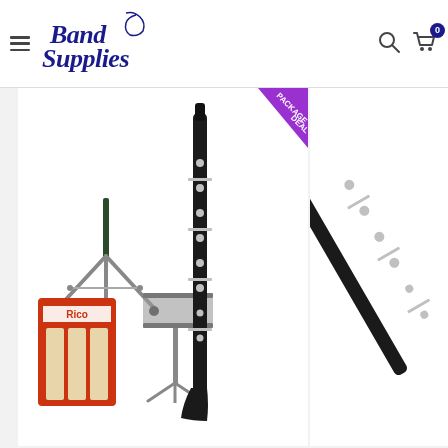Band Supplies - online music store header with logo, search icon, and cart icon showing 0 items
[Figure (photo): Clarinet package deal product card showing a clarinet, clarinet stand, music stand, and Rico reeds with a purple package deal banner in the top right corner]
[Figure (photo): Clarinet product image (partial) showing a close-up of a clarinet on a light background, right side of the screen]